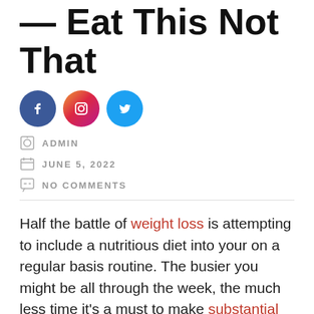— Eat This Not That
[Figure (infographic): Three social media icon circles: Facebook (blue), Instagram (gradient pink/purple), Twitter (light blue)]
ADMIN
JUNE 5, 2022
NO COMMENTS
Half the battle of weight loss is attempting to include a nutritious diet into your on a regular basis routine. The busier you might be all through the week, the much less time it's a must to make substantial